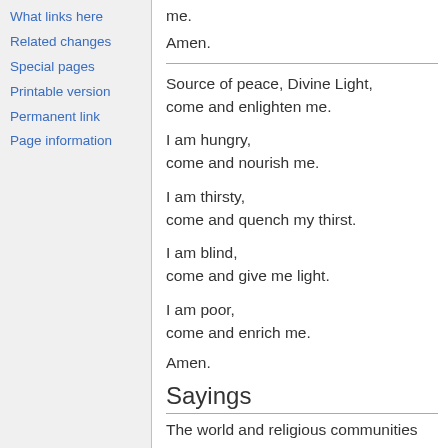What links here
Related changes
Special pages
Printable version
Permanent link
Page information
me.
Amen.
Source of peace, Divine Light,
come and enlighten me.
I am hungry,
come and nourish me.
I am thirsty,
come and quench my thirst.
I am blind,
come and give me light.
I am poor,
come and enrich me.
Amen.
Sayings
The world and religious communities are seeking novelties in devotions, and they